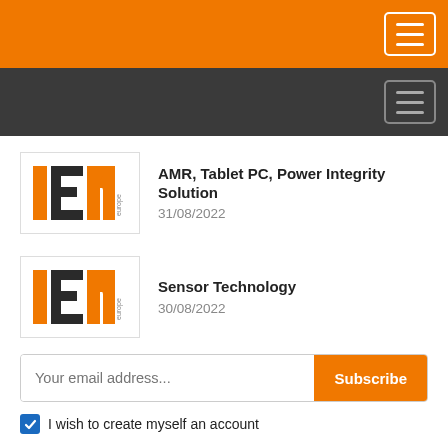[Figure (screenshot): Orange header navigation bar with hamburger menu button]
[Figure (screenshot): Dark gray secondary navigation bar with hamburger menu button]
AMR, Tablet PC, Power Integrity Solution
31/08/2022
Sensor Technology
30/08/2022
Your email address...
Subscribe
I wish to create myself an account
Video   View all